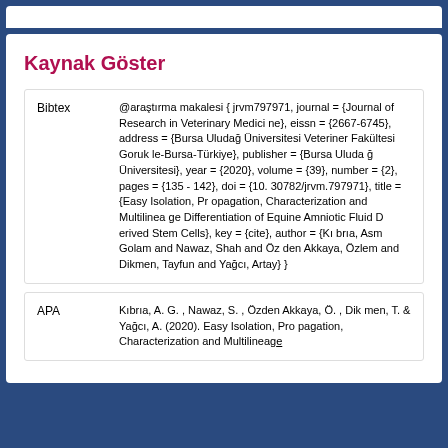Kaynak Göster
|  |  |
| --- | --- |
| Bibtex | @araştırma makalesi { jrvm797971, journal = {Journal of Research in Veterinary Medicine}, eissn = {2667-6745}, address = {Bursa Uludağ Üniversitesi Veteriner Fakültesi Gorukle-Bursa-Türkiye}, publisher = {Bursa Uludağ Üniversitesi}, year = {2020}, volume = {39}, number = {2}, pages = {135 - 142}, doi = {10.30782/jrvm.797971}, title = {Easy Isolation, Propagation, Characterization and Multilineage Differentiation of Equine Amniotic Fluid Derived Stem Cells}, key = {cite}, author = {Kıbrıa, Asm Golam and Nawaz, Shah and Özden Akkaya, Özlem and Dikmen, Tayfun and Yağcı, Artay} } |
| APA | Kıbrıa, A. G. , Nawaz, S. , Özden Akkaya, Ö. , Dikmen, T. & Yağcı, A. (2020). Easy Isolation, Propagation, Characterization and Multilineaga |